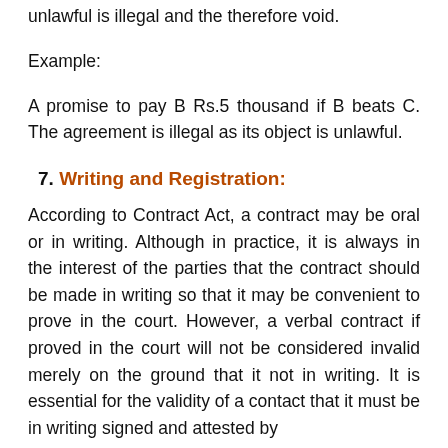unlawful is illegal and the therefore void.
Example:
A promise to pay B Rs.5 thousand if B beats C. The agreement is illegal as its object is unlawful.
7. Writing and Registration:
According to Contract Act, a contract may be oral or in writing. Although in practice, it is always in the interest of the parties that the contract should be made in writing so that it may be convenient to prove in the court. However, a verbal contract if proved in the court will not be considered invalid merely on the ground that it not in writing. It is essential for the validity of a contact that it must be in writing signed and attested by